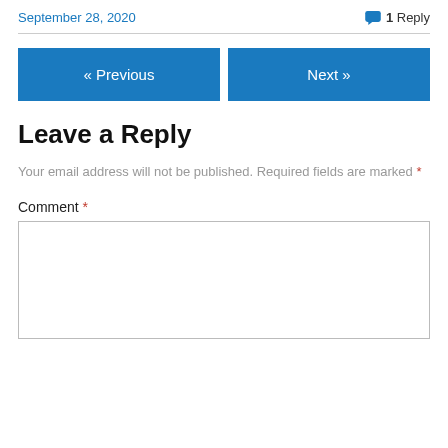September 28, 2020    1 Reply
« Previous    Next »
Leave a Reply
Your email address will not be published. Required fields are marked *
Comment *